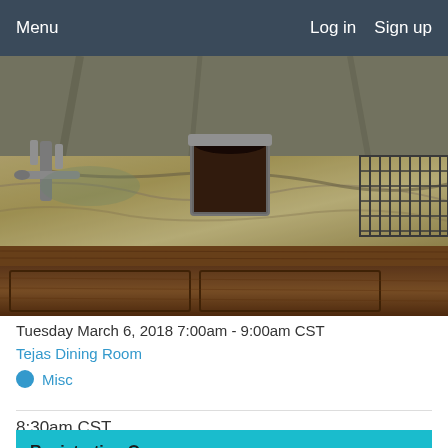Menu   Log in   Sign up
[Figure (photo): A kitchen counter with granite/marble surface showing a metal container with dark substance, a faucet on the left, a wire rack on the right, and wooden cabinet drawers below.]
Tuesday March 6, 2018 7:00am - 9:00am CST
Tejas Dining Room
Misc
8:30am CST
Registration Open